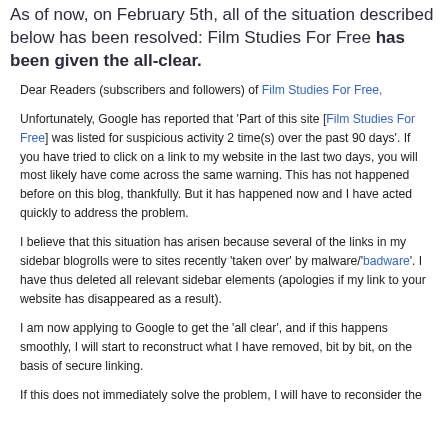As of now, on February 5th, all of the situation described below has been resolved: Film Studies For Free has been given the all-clear.
Dear Readers (subscribers and followers) of Film Studies For Free,
Unfortunately, Google has reported that 'Part of this site [Film Studies For Free] was listed for suspicious activity 2 time(s) over the past 90 days'. If you have tried to click on a link to my website in the last two days, you will most likely have come across the same warning. This has not happened before on this blog, thankfully. But it has happened now and I have acted quickly to address the problem.
I believe that this situation has arisen because several of the links in my sidebar blogrolls were to sites recently 'taken over' by malware/'badware'. I have thus deleted all relevant sidebar elements (apologies if my link to your website has disappeared as a result).
I am now applying to Google to get the 'all clear', and if this happens smoothly, I will start to reconstruct what I have removed, bit by bit, on the basis of secure linking.
If this does not immediately solve the problem, I will have to reconsider the